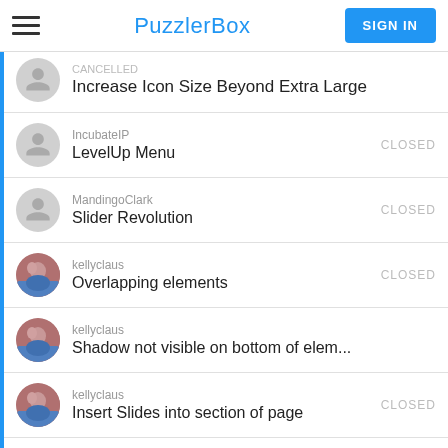PuzzlerBox | SIGN IN
Increase Icon Size Beyond Extra Large
IncubateIP | LevelUp Menu | CLOSED
MandingoClark | Slider Revolution | CLOSED
kellyclaus | Overlapping elements | CLOSED
kellyclaus | Shadow not visible on bottom of elem...
kellyclaus | Insert Slides into section of page | CLOSED
Cahoots | plugins | CLOSED